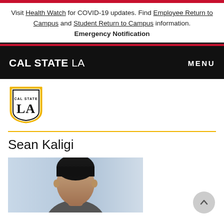Visit Health Watch for COVID-19 updates. Find Employee Return to Campus and Student Return to Campus information. Emergency Notification
[Figure (logo): Cal State LA navigation bar with white bold text CAL STATE LA on black background and MENU on the right]
[Figure (logo): Cal State LA shield logo with gold border, black outline, text CAL STATE above LA]
Sean Kaligi
[Figure (photo): Portrait photo of Sean Kaligi, a man with dark hair, partially visible, blurred background]